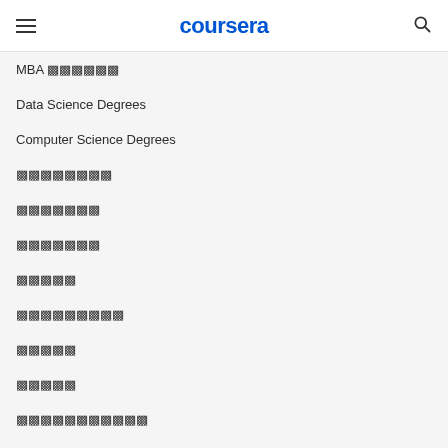coursera
MBA ▩▩▩▩▩▩
Data Science Degrees
Computer Science Degrees
▩▩▩▩▩▩▩▩
▩▩▩▩▩▩▩
▩▩▩▩▩▩▩
▩▩▩▩▩
▩▩▩▩▩▩▩▩▩
▩▩▩▩▩
▩▩▩▩▩
▩▩▩▩▩▩▩▩▩▩▩
▩▩▩▩▩▩▩
▩▩▩▩▩▩▩▩
▩▩▩▩▩▩▩▩▩▩▩▩▩▩